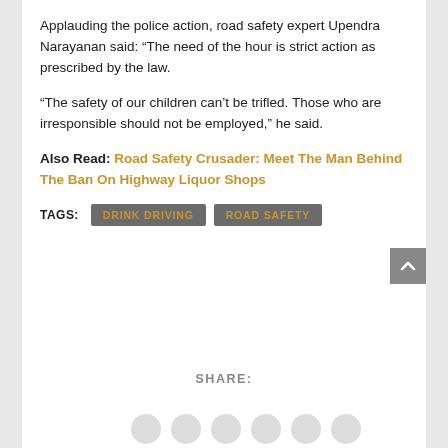Applauding the police action, road safety expert Upendra Narayanan said: “The need of the hour is strict action as prescribed by the law.
“The safety of our children can’t be trifled. Those who are irresponsible should not be employed,” he said.
Also Read: Road Safety Crusader: Meet The Man Behind The Ban On Highway Liquor Shops
TAGS: DRINK DRIVING  ROAD SAFETY
SHARE: